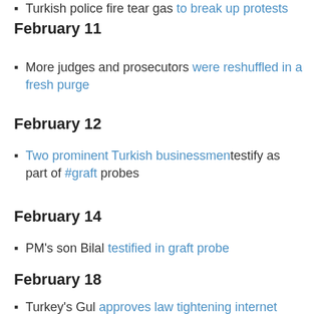Turkish police fire tear gas to break up protests
February 11
More judges and prosecutors were reshuffled in a fresh purge
February 12
Two prominent Turkish businessmen testify as part of #graft probes
February 14
PM's son Bilal testified in graft probe
February 18
Turkey's Gul approves law tightening internet controls
February 21